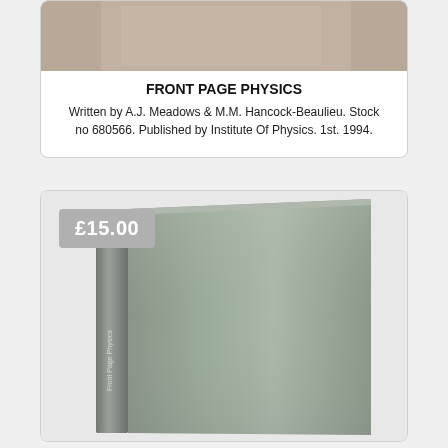[Figure (photo): Top portion of a book product listing card showing a partial photo of a book cover at the top]
FRONT PAGE PHYSICS
Written by A.J. Meadows & M.M. Hancock-Beaulieu. Stock no 680566. Published by Institute Of Physics. 1st. 1994.
[Figure (photo): Photo of a grey/green hardcover book standing upright, slightly angled, with spine text partially visible. A price badge showing £15.00 overlays the top-left corner.]